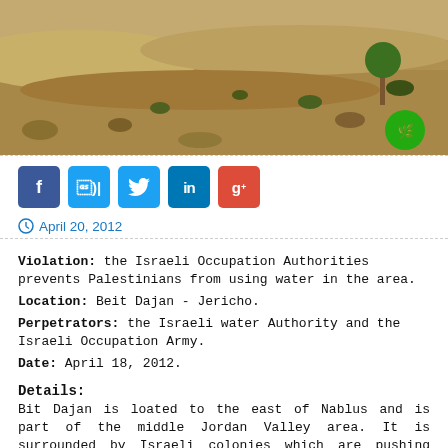[Figure (photo): Desert landscape photo showing arid terrain with sandy soil, rocks, and sparse desert shrubs/trees. A green circular sticker/marker is visible in the lower right of the image.]
April 20, 2012
Violation: the Israeli Occupation Authorities prevents Palestinians from using water in the area.
Location: Beit Dajan - Jericho.
Perpetrators: the Israeli water Authority and the Israeli Occupation Army.
Date: April 18, 2012.
Details:
Bit Dajan is loated to the east of Nablus and is part of the middle Jordan Valley area. It is surrounded by Israeli colonies which are pushing towards taking over the whole village. It must be noted that in the 1990s the Israeli Authorities allowed...